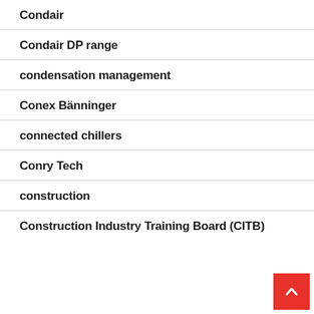Condair
Condair DP range
condensation management
Conex Bänninger
connected chillers
Conry Tech
construction
Construction Industry Training Board (CITB)